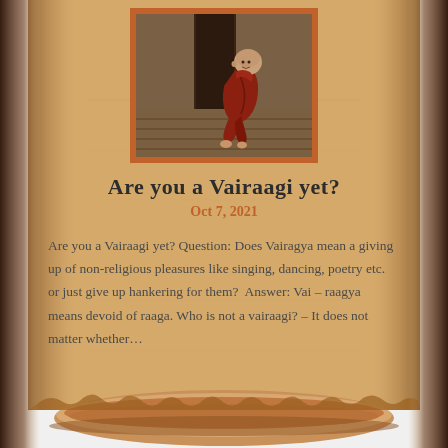[Figure (photo): A young Buddhist monk child in red/maroon robes sitting beside a large dark wooden pillar on a wooden floor, smiling]
Are you a Vairaagi yet?
Oct 7, 2021
Are you a Vairaagi yet? Question: Does Vairagya mean a giving up of non-religious pleasures like singing, dancing, poetry etc. or just give up hankering for them?  Answer: Vai – raagya means devoid of raaga. Who is not a vairaagi? – It does not matter whether...